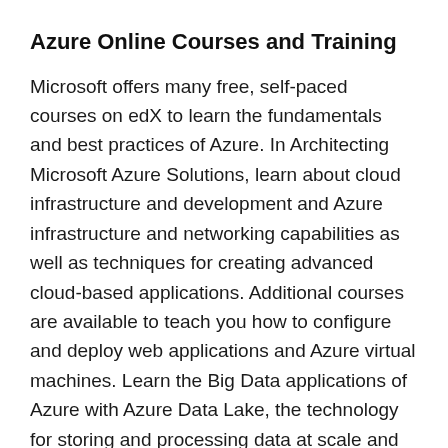Azure Online Courses and Training
Microsoft offers many free, self-paced courses on edX to learn the fundamentals and best practices of Azure. In Architecting Microsoft Azure Solutions, learn about cloud infrastructure and development and Azure infrastructure and networking capabilities as well as techniques for creating advanced cloud-based applications. Additional courses are available to teach you how to configure and deploy web applications and Azure virtual machines. Learn the Big Data applications of Azure with Azure Data Lake, the technology for storing and processing data at scale and utilize the Azure HDInsight service to implement predictive analytics and machine learning solutions.